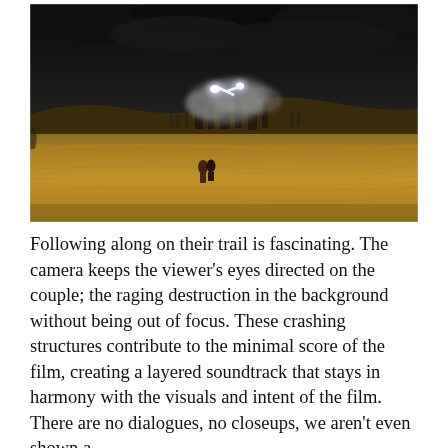[Figure (photo): A wide shot of a dry golden field under a dark stormy sky. In the distance, large structures appear to be collapsing or crashing with bright glowing lights and smoke. In the foreground, two small figures (a couple) are seen running across the field toward the camera, silhouetted against the golden grass.]
Following along on their trail is fascinating. The camera keeps the viewer's eyes directed on the couple; the raging destruction in the background without being out of focus. These crashing structures contribute to the minimal score of the film, creating a layered soundtrack that stays in harmony with the visuals and intent of the film. There are no dialogues, no closeups, we aren't even shown a